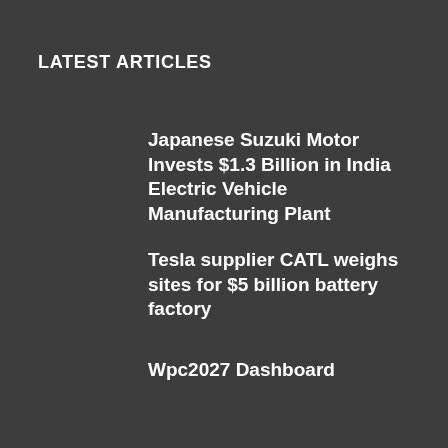LATEST ARTICLES
Japanese Suzuki Motor Invests $1.3 Billion in India Electric Vehicle Manufacturing Plant
Tesla supplier CATL weighs sites for $5 billion battery factory
Wpc2027 Dashboard